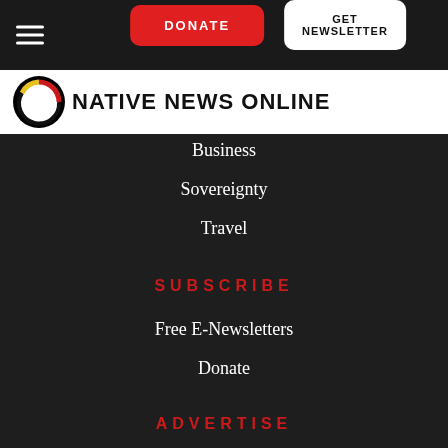DONATE | GET NEWSLETTER
[Figure (logo): Native News Online logo with circular tribal graphic and bold text]
Business
Sovereignty
Travel
SUBSCRIBE
Free E-Newsletters
Donate
ADVERTISE
Request Rates
Media Kit